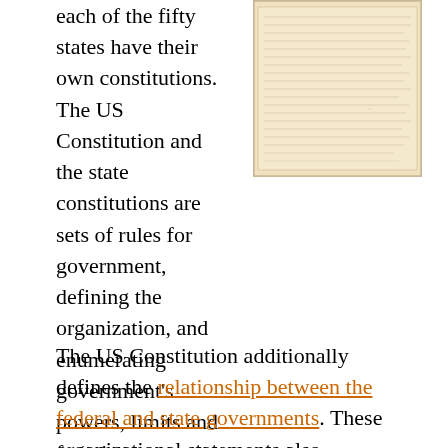each of the fifty states have their own constitutions. The US Constitution and the state constitutions are sets of rules for government, defining the organization, and enumerating government's powers, limits and functions.
[Figure (photo): A photograph or scan of a historical document, likely the US Constitution, showing handwritten text on aged parchment paper.]
The US Constitution additionally defines the relationship between the federal and state governments. These organizational statements also effectively express the philosophy of the relationship between a government and its people.
By virtue of its Supremacy Clause, the US Constitution is the "supreme law of the land". However, in some instances, by virtue of the Tenth Amendment,[4] state constitutions have more force